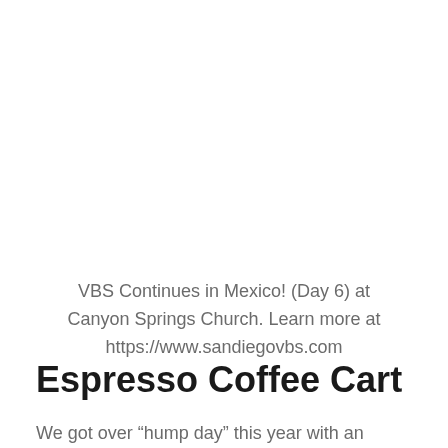VBS Continues in Mexico! (Day 6) at Canyon Springs Church. Learn more at https://www.sandiegovbs.com
Espresso Coffee Cart
We got over “hump day” this year with an